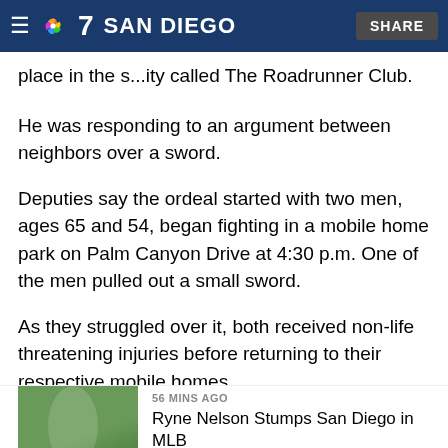7 SAN DIEGO | SHARE
place in the s...ity called The Roadrunner Club.
He was responding to an argument between neighbors over a sword.
Deputies say the ordeal started with two men, ages 65 and 54, began fighting in a mobile home park on Palm Canyon Drive at 4:30 p.m. One of the men pulled out a small sword.
As they struggled over it, both received non-life threatening injuries before returning to their respective mobile homes.
Local
56 MINS AGO
Ryne Nelson Stumps San Diego in MLB